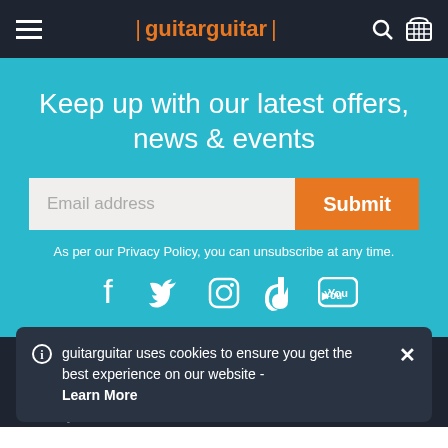guitarguitar
Keep up with our latest offers, news & events
Email address
Submit
As per our Privacy Policy, you can unsubscribe at any time.
guitarguitar uses cookies to ensure you get the best experience on our website - Learn More
Contact us
Birmingham
Delivery Information
Camden